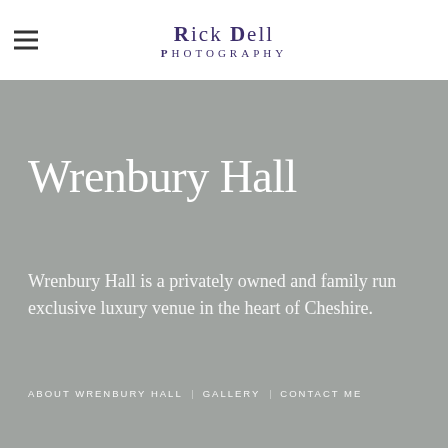Rick Dell Photography
Wrenbury Hall
Wrenbury Hall is a privately owned and family run exclusive luxury venue in the heart of Cheshire.
ABOUT WRENBURY HALL
GALLERY
CONTACT ME